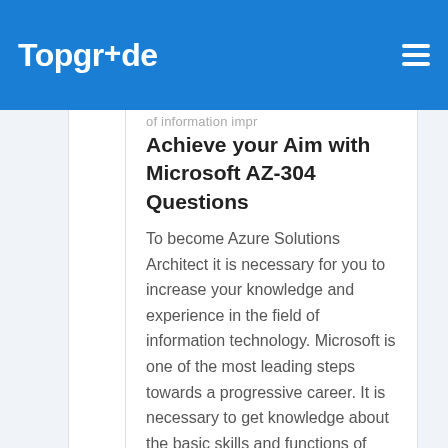TopgrAde
Achieve your Aim with Microsoft AZ-304 Questions
To become Azure Solutions Architect it is necessary for you to increase your knowledge and experience in the field of information technology. Microsoft is one of the most leading steps towards a progressive career. It is necessary to get knowledge about the basic skills and functions of